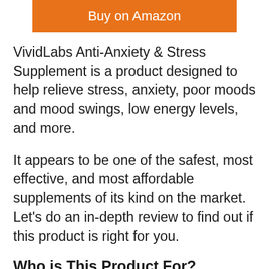[Figure (other): Orange 'Buy on Amazon' button]
VividLabs Anti-Anxiety & Stress Supplement is a product designed to help relieve stress, anxiety, poor moods and mood swings, low energy levels, and more.
It appears to be one of the safest, most effective, and most affordable supplements of its kind on the market. Let’s do an in-depth review to find out if this product is right for you.
Who is This Product For?